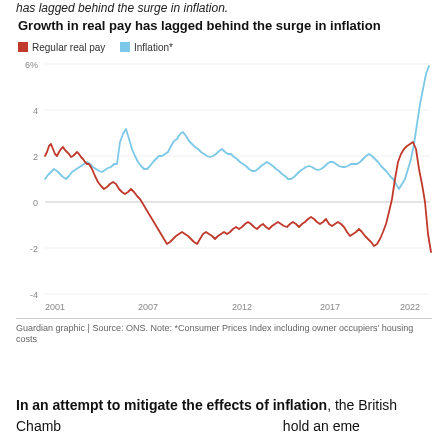has lagged behind the surge in inflation.
[Figure (line-chart): Growth in real pay has lagged behind the surge in inflation]
Guardian graphic | Source: ONS. Note: *Consumer Prices Index including owner occupiers' housing costs
In an attempt to mitigate the effects of inflation, the British Chamb                                                      hold an eme